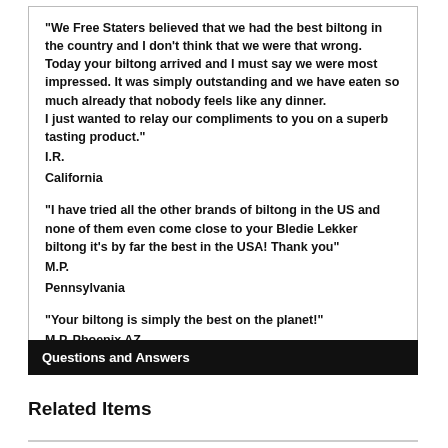"We Free Staters believed that we had the best biltong in the country and I don't think that we were that wrong. Today your biltong arrived and I must say we were most impressed. It was simply outstanding and we have eaten so much already that nobody feels like any dinner. I just wanted to relay our compliments to you on a superb tasting product." I.R. California
"I have tried all the other brands of biltong in the US and none of them even come close to your Bledie Lekker biltong it's by far the best in the USA! Thank you" M.P. Pennsylvania
"Your biltong is simply the best on the planet!" M.P. Phoenix AZ
Questions and Answers
Related Items